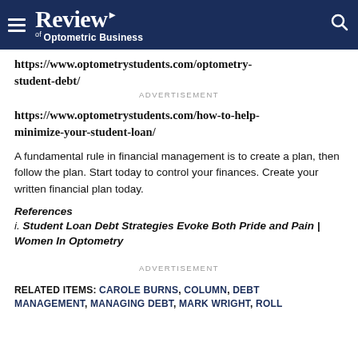Review of Optometric Business
https://www.optometrystudents.com/optometry-student-debt/
ADVERTISEMENT
https://www.optometrystudents.com/how-to-help-minimize-your-student-loan/
A fundamental rule in financial management is to create a plan, then follow the plan. Start today to control your finances. Create your written financial plan today.
References
i. Student Loan Debt Strategies Evoke Both Pride and Pain | Women In Optometry
ADVERTISEMENT
RELATED ITEMS: CAROLE BURNS, COLUMN, DEBT MANAGEMENT, MANAGING DEBT, MARK WRIGHT, ROLL